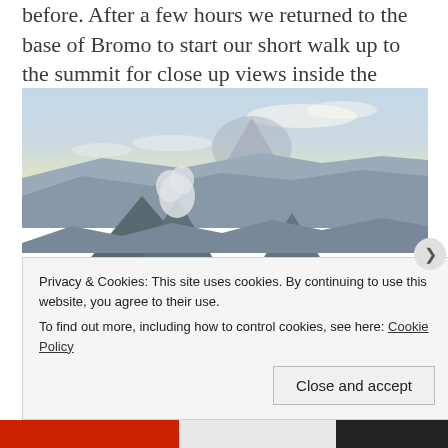before. After a few hours we returned to the base of Bromo to start our short walk up to the summit for close up views inside the Volcano!
[Figure (photo): Wide landscape photograph of Mount Bromo volcano and surrounding volcanic caldera in Java, Indonesia. Shows multiple volcanic peaks with mist and clouds in the valley below, taken at sunrise or early morning with pale blue and warm sky tones. Forested slopes visible in foreground right.]
Privacy & Cookies: This site uses cookies. By continuing to use this website, you agree to their use.
To find out more, including how to control cookies, see here: Cookie Policy